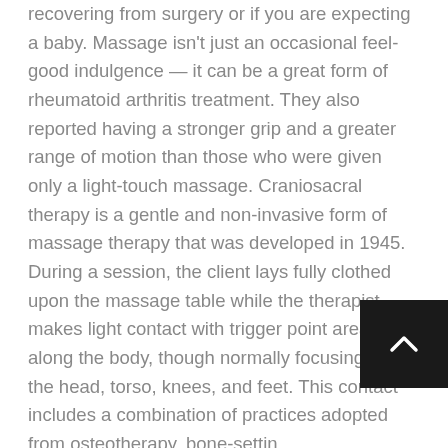It can also help with specific health conditions, if you are recovering from surgery or if you are expecting a baby. Massage isn't just an occasional feel-good indulgence — it can be a great form of rheumatoid arthritis treatment. They also reported having a stronger grip and a greater range of motion than those who were given only a light-touch massage. Craniosacral therapy is a gentle and non-invasive form of massage therapy that was developed in 1945. During a session, the client lays fully clothed upon the massage table while the therapist makes light contact with trigger point areas all along the body, though normally focusing on the head, torso, knees, and feet. This contact includes a combination of practices adopted from osteotherapy, bone-setting chiropractic work. There are many different types of massage, and each